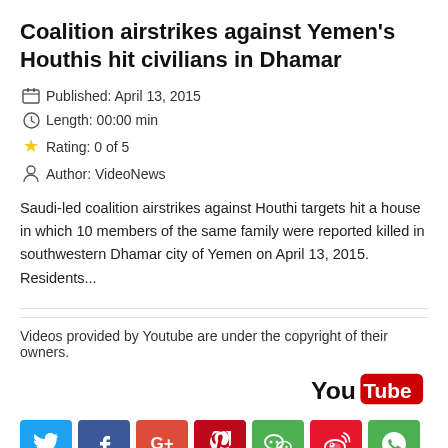Coalition airstrikes against Yemen's Houthis hit civilians in Dhamar
Published: April 13, 2015
Length: 00:00 min
Rating: 0 of 5
Author: VideoNews
Saudi-led coalition airstrikes against Houthi targets hit a house in which 10 members of the same family were reported killed in southwestern Dhamar city of Yemen on April 13, 2015. Residents...
Videos provided by Youtube are under the copyright of their owners.
[Figure (logo): YouTube logo]
[Figure (infographic): Social media sharing buttons: Twitter, Facebook, Google+, Pinterest, WeChat, Weibo, WhatsApp]
Advertising
NEARBY PLACES